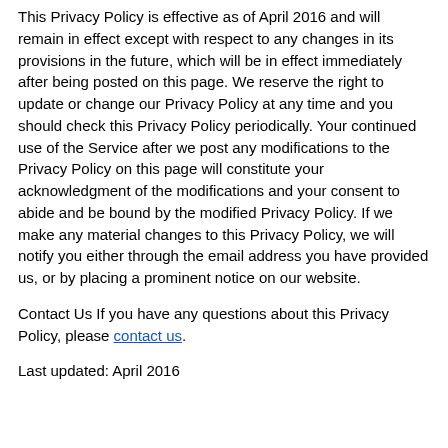This Privacy Policy is effective as of April 2016 and will remain in effect except with respect to any changes in its provisions in the future, which will be in effect immediately after being posted on this page. We reserve the right to update or change our Privacy Policy at any time and you should check this Privacy Policy periodically. Your continued use of the Service after we post any modifications to the Privacy Policy on this page will constitute your acknowledgment of the modifications and your consent to abide and be bound by the modified Privacy Policy. If we make any material changes to this Privacy Policy, we will notify you either through the email address you have provided us, or by placing a prominent notice on our website.
Contact Us If you have any questions about this Privacy Policy, please contact us.
Last updated: April 2016